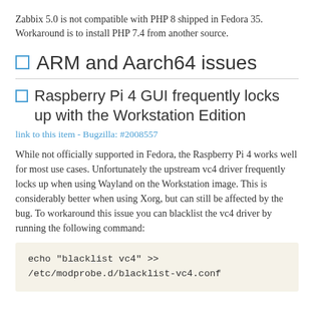Zabbix 5.0 is not compatible with PHP 8 shipped in Fedora 35. Workaround is to install PHP 7.4 from another source.
ARM and Aarch64 issues
Raspberry Pi 4 GUI frequently locks up with the Workstation Edition
link to this item - Bugzilla: #2008557
While not officially supported in Fedora, the Raspberry Pi 4 works well for most use cases. Unfortunately the upstream vc4 driver frequently locks up when using Wayland on the Workstation image. This is considerably better when using Xorg, but can still be affected by the bug. To workaround this issue you can blacklist the vc4 driver by running the following command:
echo "blacklist vc4" >> /etc/modprobe.d/blacklist-vc4.conf